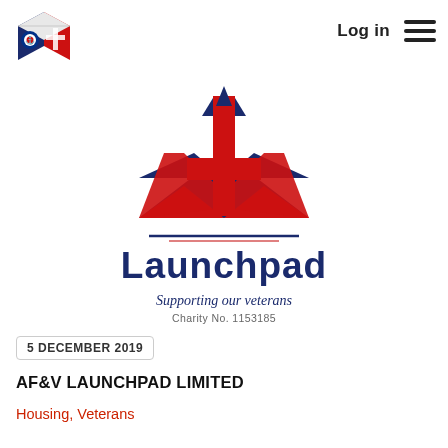[Figure (logo): Navigation bar logo: a colourful cube with military insignia (anchor, RAF roundel, cross) in red, dark blue and white]
Log in
[Figure (logo): Launchpad charity logo: a cross/rocket shape above Union Jack wings, with text 'Launchpad', 'Supporting our veterans', 'Charity No. 1153185']
5 DECEMBER 2019
AF&V LAUNCHPAD LIMITED
Housing, Veterans